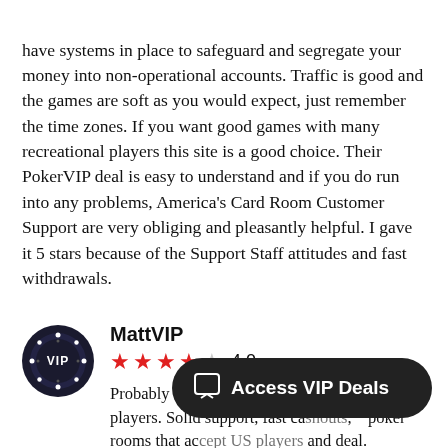have systems in place to safeguard and segregate your money into non-operational accounts. Traffic is good and the games are soft as you would expect, just remember the time zones. If you want good games with many recreational players this site is a good choice. Their PokerVIP deal is easy to understand and if you do run into any problems, America's Card Room Customer Support are very obliging and pleasantly helpful. I gave it 5 stars because of the Support Staff attitudes and fast withdrawals.
MattVIP
4.0
Probably the most reliable option for US players. Solid support, fast ca... poker rooms that ac... and deal.
[Figure (illustration): Dark circular avatar badge with VIP poker chip design, white 'VIP' text in center surrounded by white dots on dark blue/black background.]